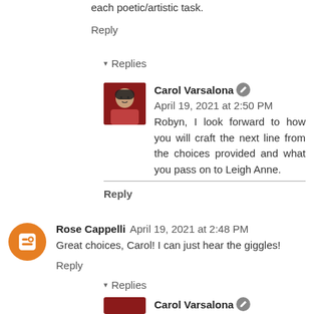each poetic/artistic task.
Reply
▾ Replies
Carol Varsalona  April 19, 2021 at 2:50 PM
Robyn, I look forward to how you will craft the next line from the choices provided and what you pass on to Leigh Anne.
Reply
Rose Cappelli  April 19, 2021 at 2:48 PM
Great choices, Carol! I can just hear the giggles!
Reply
▾ Replies
Carol Varsalona  April 19, 2021 at 2:52 PM